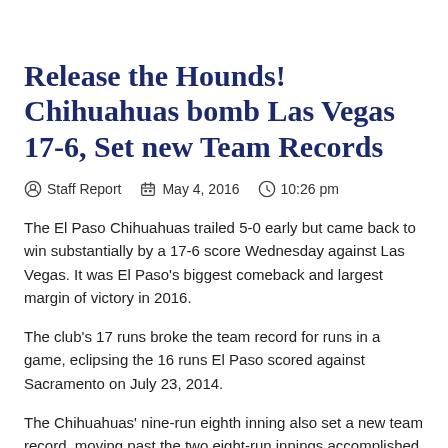Release the Hounds! Chihuahuas bomb Las Vegas 17-6, Set new Team Records
Staff Report  May 4, 2016  10:26 pm
The El Paso Chihuahuas trailed 5-0 early but came back to win substantially by a 17-6 score Wednesday against Las Vegas. It was El Paso's biggest comeback and largest margin of victory in 2016.
The club's 17 runs broke the team record for runs in a game, eclipsing the 16 runs El Paso scored against Sacramento on July 23, 2014.
The Chihuahuas' nine-run eighth inning also set a new team record, moving past the two eight-run innings accomplished previously